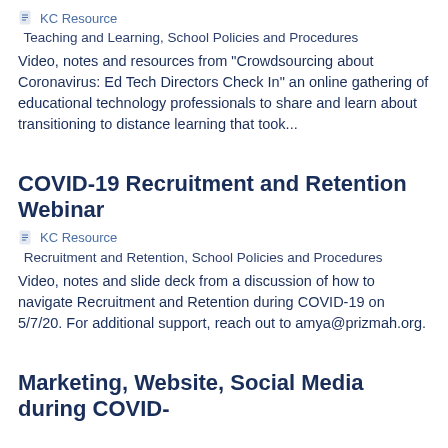KC Resource
Teaching and Learning, School Policies and Procedures
Video, notes and resources from "Crowdsourcing about Coronavirus: Ed Tech Directors Check In" an online gathering of educational technology professionals to share and learn about transitioning to distance learning that took...
COVID-19 Recruitment and Retention Webinar
KC Resource
Recruitment and Retention, School Policies and Procedures
Video, notes and slide deck from a discussion of how to navigate Recruitment and Retention during COVID-19 on 5/7/20. For additional support, reach out to amya@prizmah.org.
Marketing, Website, Social Media during COVID-